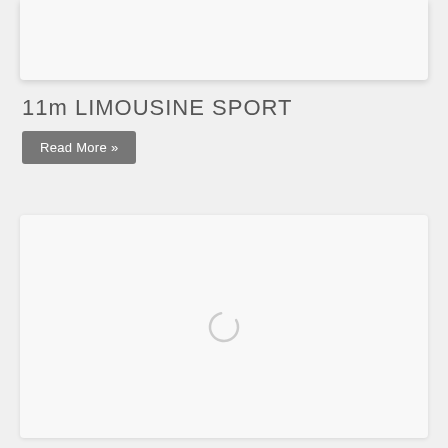[Figure (other): Top card area - light gray rounded card, partially visible at top of page]
11m LIMOUSINE SPORT
Read More »
[Figure (other): Large light gray card with a loading spinner (circular arc) centered in it]